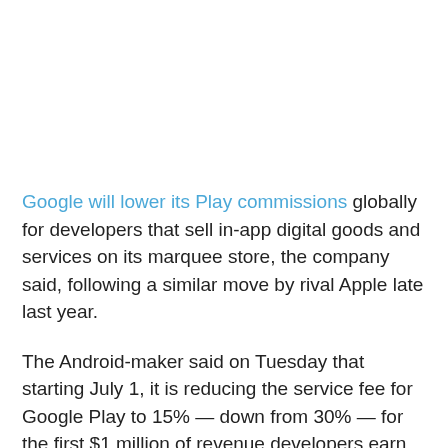Google will lower its Play commissions globally for developers that sell in-app digital goods and services on its marquee store, the company said, following a similar move by rival Apple late last year.
The Android-maker said on Tuesday that starting July 1, it is reducing the service fee for Google Play to 15% — down from 30% — for the first $1 million of revenue developers earn using the Play billing system each year. The company will levy a 30% cut on every dollar developers generate through Google Play beyond the first $1 million in a year, it said.